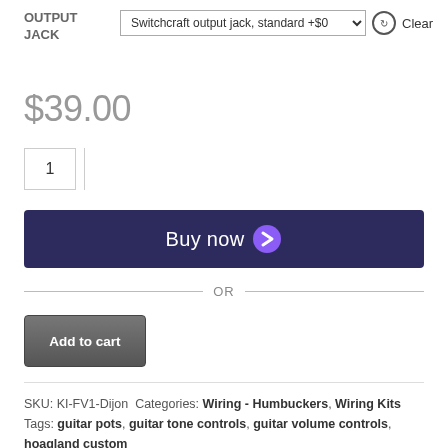OUTPUT JACK
Switchcraft output jack, standard +$0  Clear
$39.00
1
Buy now
— OR —
Add to cart
SKU: KI-FV1-Dijon  Categories: Wiring - Humbuckers, Wiring Kits  Tags: guitar pots, guitar tone controls, guitar volume controls, hoagland custom